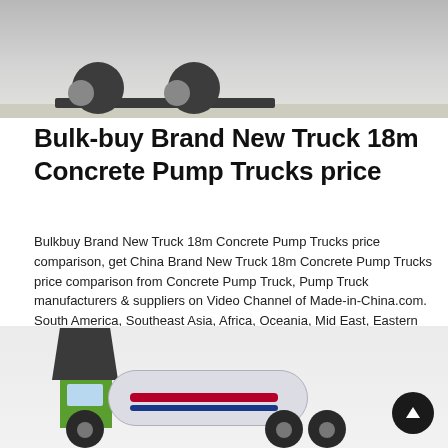[Figure (photo): Top portion of a truck undercarriage and wheels visible against a light concrete surface]
Bulk-buy Brand New Truck 18m Concrete Pump Trucks price
Bulkbuy Brand New Truck 18m Concrete Pump Trucks price comparison, get China Brand New Truck 18m Concrete Pump Trucks price comparison from Concrete Pump Truck, Pump Truck manufacturers & suppliers on Video Channel of Made-in-China.com. South America, Southeast Asia, Africa, Oceania, Mid East, Eastern Asia
Learn More
[Figure (photo): A green concrete mixer truck with a large rotating drum, visible cabin, hopper, and wheels against a light grey background]